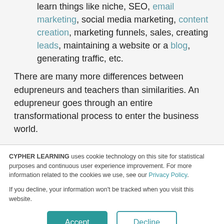learn things like niche, SEO, email marketing, social media marketing, content creation, marketing funnels, sales, creating leads, maintaining a website or a blog, generating traffic, etc.
There are many more differences between edupreneurs and teachers than similarities. An edupreneur goes through an entire transformational process to enter the business world.
CYPHER LEARNING uses cookie technology on this site for statistical purposes and continuous user experience improvement. For more information related to the cookies we use, see our Privacy Policy.
If you decline, your information won't be tracked when you visit this website.